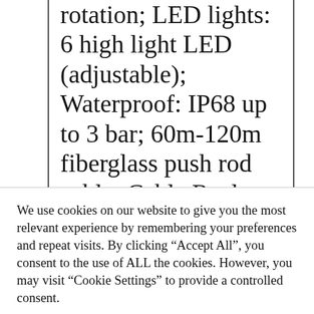rotation; LED lights: 6 high light LED (adjustable); Waterproof: IP68 up to 3 bar; 60m-120m fiberglass push rod cable; Cable Reel size: L700 * W280 * H840mm; Cable material : Fiberglass Rod; Cable length: 120m(standard)/60m; Cable diameter: 9mm; 8 inch TFT LCD color Monitor; Monitor Size: 8
We use cookies on our website to give you the most relevant experience by remembering your preferences and repeat visits. By clicking "Accept All", you consent to the use of ALL the cookies. However, you may visit "Cookie Settings" to provide a controlled consent.